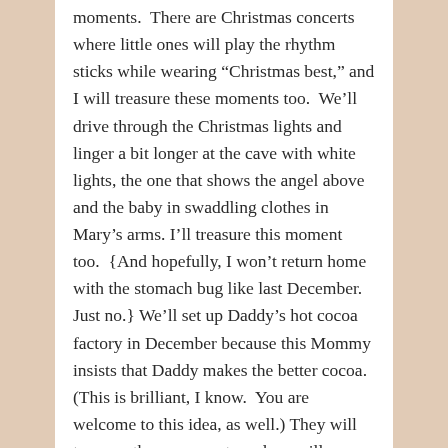moments.  There are Christmas concerts where little ones will play the rhythm sticks while wearing “Christmas best,” and I will treasure these moments too.  We’ll drive through the Christmas lights and linger a bit longer at the cave with white lights, the one that shows the angel above and the baby in swaddling clothes in Mary’s arms. I’ll treasure this moment too.  {And hopefully, I won’t return home with the stomach bug like last December.  Just no.} We’ll set up Daddy’s hot cocoa factory in December because this Mommy insists that Daddy makes the better cocoa.  (This is brilliant, I know.  You are welcome to this idea, as well.) They will treasure these moments and we will, as well.  When it snows, I’ll freeze dallops of whip cream on cookie sheets to add to Daddy’s famous cocoa factory for a most special treat!
 This is special.  No doubt, this is truly special.  Friends, I thrive on Christmas and the merriment.